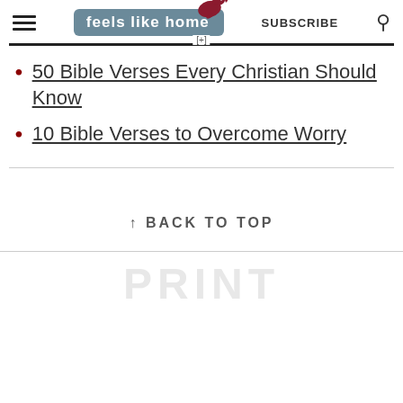feels like home — SUBSCRIBE
50 Bible Verses Every Christian Should Know
10 Bible Verses to Overcome Worry
↑ BACK TO TOP